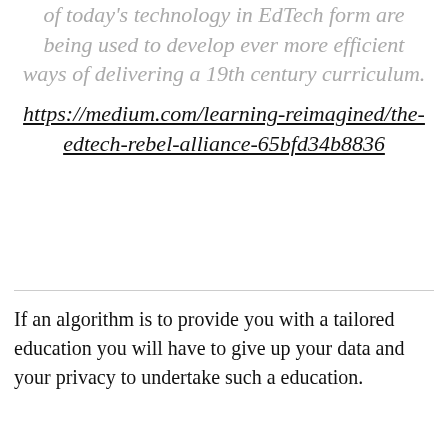of today's technology in EdTech form are being used to develop ever more efficient ways of delivering a 19th century curriculum.
https://medium.com/learning-reimagined/the-edtech-rebel-alliance-65bfd34b8836
If an algorithm is to provide you with a tailored education you will have to give up your data and your privacy to undertake such a education.